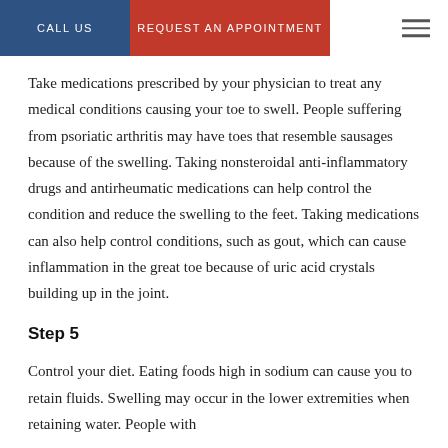CALL US | REQUEST AN APPOINTMENT
Take medications prescribed by your physician to treat any medical conditions causing your toe to swell. People suffering from psoriatic arthritis may have toes that resemble sausages because of the swelling. Taking nonsteroidal anti-inflammatory drugs and antirheumatic medications can help control the condition and reduce the swelling to the feet. Taking medications can also help control conditions, such as gout, which can cause inflammation in the great toe because of uric acid crystals building up in the joint.
Step 5
Control your diet. Eating foods high in sodium can cause you to retain fluids. Swelling may occur in the lower extremities when retaining water. People with